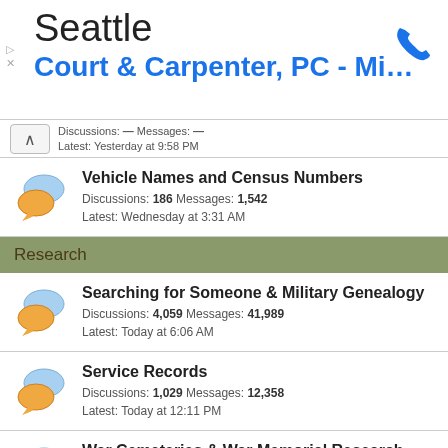[Figure (screenshot): Advertisement banner for Seattle Court & Carpenter, PC - Mil... with phone icon]
Discussions: [truncated] Messages: [truncated]
Latest: Yesterday at 9:58 PM
Vehicle Names and Census Numbers
Discussions: 186 Messages: 1,542
Latest: Wednesday at 3:31 AM
Research
Searching for Someone & Military Genealogy
Discussions: 4,059 Messages: 41,989
Latest: Today at 6:06 AM
Service Records
Discussions: 1,029 Messages: 12,358
Latest: Today at 12:11 PM
War Cemeteries & War Memorial Research
Discussions: 3,435 Messages: 43,377
Latest: 53 minutes ago